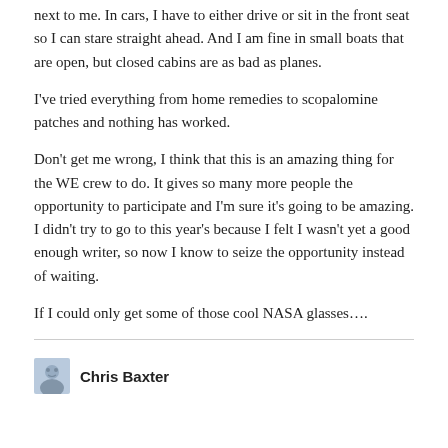next to me. In cars, I have to either drive or sit in the front seat so I can stare straight ahead. And I am fine in small boats that are open, but closed cabins are as bad as planes.
I've tried everything from home remedies to scopalomine patches and nothing has worked.
Don't get me wrong, I think that this is an amazing thing for the WE crew to do. It gives so many more people the opportunity to participate and I'm sure it's going to be amazing. I didn't try to go to this year's because I felt I wasn't yet a good enough writer, so now I know to seize the opportunity instead of waiting.
If I could only get some of those cool NASA glasses….
Chris Baxter